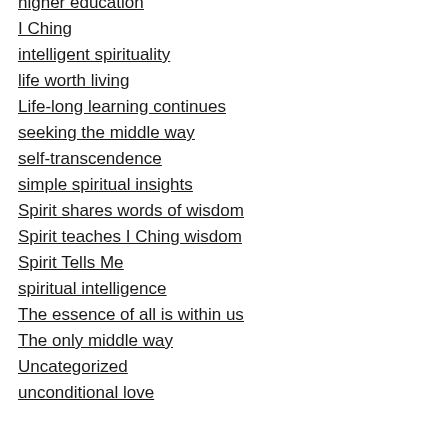higher education
I Ching
intelligent spirituality
life worth living
Life-long learning continues
seeking the middle way
self-transcendence
simple spiritual insights
Spirit shares words of wisdom
Spirit teaches I Ching wisdom
Spirit Tells Me
spiritual intelligence
The essence of all is within us
The only middle way
Uncategorized
unconditional love